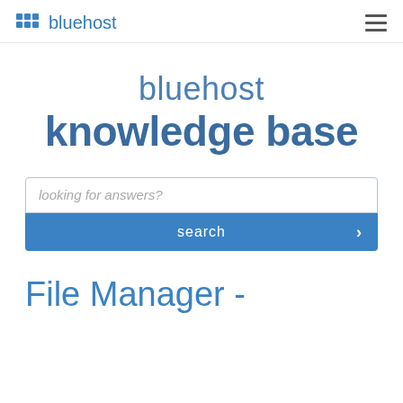bluehost
bluehost knowledge base
looking for answers?
search
File Manager -